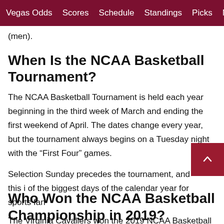Vegas Odds  Scores  Schedule  Standings  Picks  March Madness  Bettin
(men).
When Is the NCAA Basketball Tournament?
The NCAA Basketball Tournament is held each year beginning in the third week of March and ending the first weekend of April. The dates change every year, but the tournament always begins on a Tuesday night with the “First Four” games.
Selection Sunday precedes the tournament, and this i of the biggest days of the calendar year for sports fan
Who Won the NCAA Basketball Championship in 2019?
The Virginia Cavaliers won the 2019 NCAA Basketball